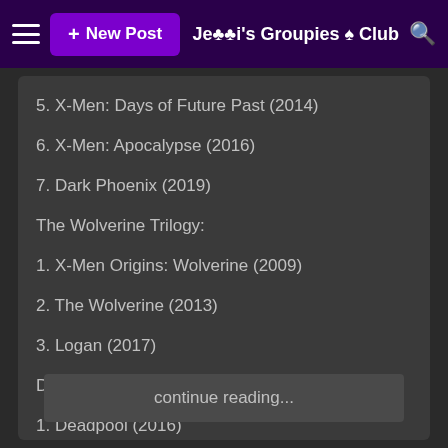+ New Post   Je♣♣i's Groupies ♠ Club
5. X-Men: Days of Future Past (2014)
6. X-Men: Apocalypse (2016)
7. Dark Phoenix (2019)
The Wolverine Trilogy:
1. X-Men Origins: Wolverine (2009)
2. The Wolverine (2013)
3. Logan (2017)
Deadpool Films:
1. Deadpool (2016)
2. Deadpool 2 (2018)
Other:
Hulk vs. Wolverine...
continue reading...